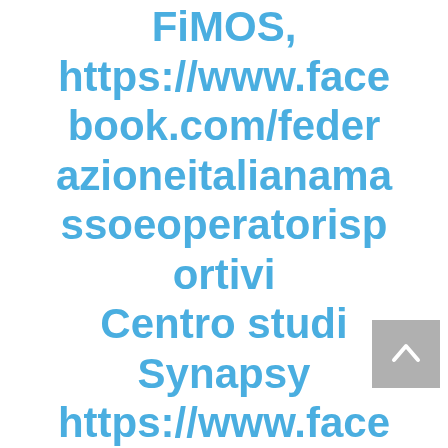FiMOS, https://www.facebook.com/federazioneitalianmassoeoperatorisportivi Centro studi Synapsy https://www.facebook.com/centrostudisynapsy.it o International